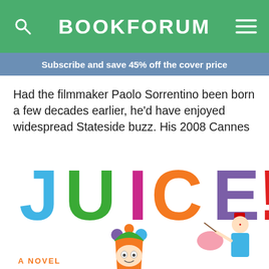BOOKFORUM
Subscribe and save 45% off the cover price
Had the filmmaker Paolo Sorrentino been born a few decades earlier, he'd have enjoyed widespread Stateside buzz. His 2008 Cannes prizewinner, Il Divo, would've been an art-house smash, and this
[Figure (illustration): Book cover for JUICE! A Novel, featuring large colorful letters J U I C E ! in blue, green, magenta, orange, purple, and red, with illustrated jester/clown figures below the letters. Text at bottom reads A NOVEL.]